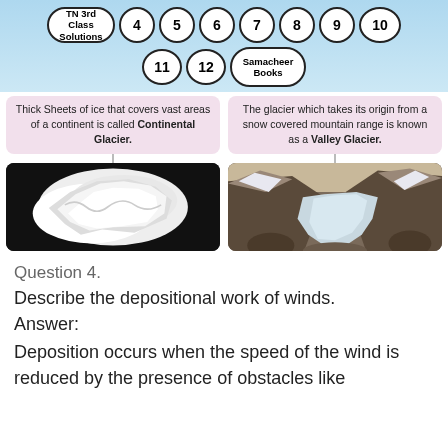TN 3rd Class Solutions 4 5 6 7 8 9 10 11 12 Samacheer Books
[Figure (infographic): Two glacier types side by side: Continental Glacier (thick sheets of ice covering vast areas of a continent) shown with a black-background satellite image of Antarctica, and Valley Glacier (originates from snow covered mountain range) shown with a mountain valley glacier photo.]
Question 4.
Describe the depositional work of winds.
Answer:
Deposition occurs when the speed of the wind is reduced by the presence of obstacles like